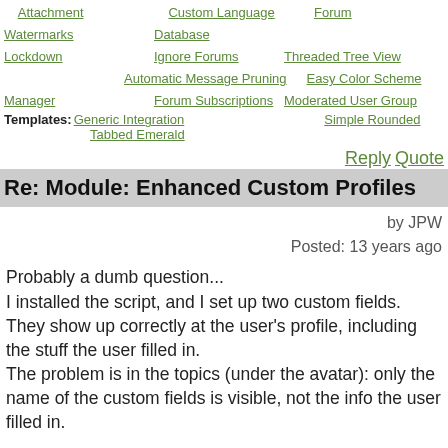Attachment Watermarks   Custom Language Database   Forum Lockdown   Ignore Forums   Threaded Tree View   Automatic Message Pruning   Easy Color Scheme   Manager   Forum Subscriptions   Moderated User Group
Templates: Generic Integration   Simple Rounded   Tabbed Emerald
Reply Quote
Re: Module: Enhanced Custom Profiles
by JPW
Posted: 13 years ago
Probably a dumb question...
I installed the script, and I set up two custom fields.
They show up correctly at the user's profile, including the stuff the user filled in.
The problem is in the topics (under the avatar): only the name of the custom fields is visible, not the info the user filled in.